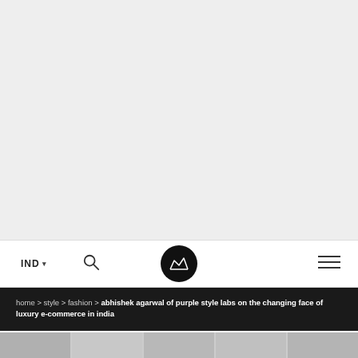[Figure (photo): Large hero image area — appears blank/light gray, likely a full-width editorial photo that did not fully render]
IND ▾   🔍   [Crown Logo]   ☰
home > style > fashion > abhishek agarwal of purple style labs on the changing face of luxury e-commerce in india
[Figure (photo): Thumbnail strip of small editorial photos at the bottom of the page]